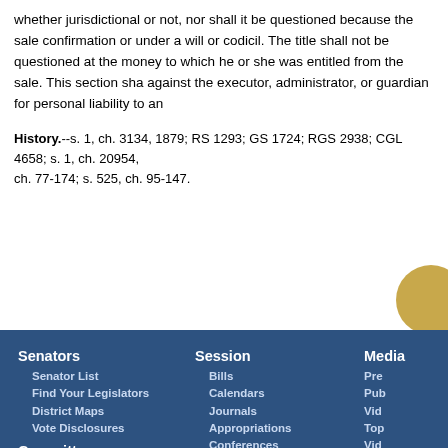whether jurisdictional or not, nor shall it be questioned because the sale confirmation or under a will or codicil. The title shall not be questioned at the money to which he or she was entitled from the sale. This section sha against the executor, administrator, or guardian for personal liability to an
History.--s. 1, ch. 3134, 1879; RS 1293; GS 1724; RGS 2938; CGL 4658; s. 1, ch. 20954, ch. 77-174; s. 525, ch. 95-147.
Senators
Senator List
Find Your Legislators
District Maps
Vote Disclosures
Committees
Committee List
Committee
Publications
Session
Bills
Calendars
Journals
Appropriations
Conferences
Reports
Executive
Appointments
Media
Pre
Pub
Vid
Top
Vid
Sch
About